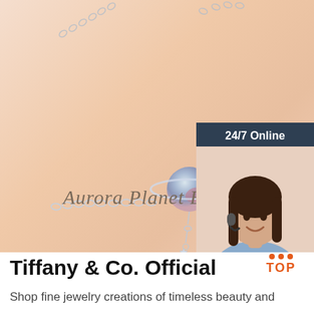[Figure (photo): Product photo showing a silver Aurora Planet Bracelet on a peachy beige background with script text reading 'Aurora Planet Bra...' and a customer service chat widget overlay on the right showing a woman with headset, '24/7 Online' header, 'Click here for free chat!' text, and orange QUOTATION button]
Tiffany & Co. Official
Shop fine jewelry creations of timeless beauty and